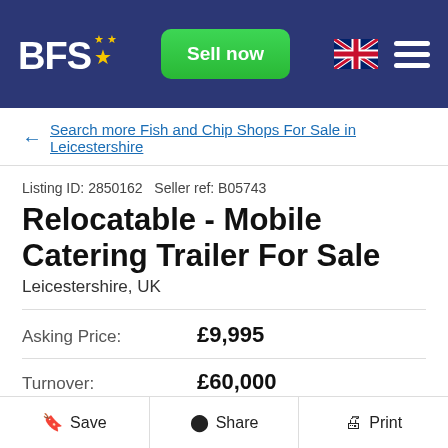BFS — Sell now
← Search more Fish and Chip Shops For Sale in Leicestershire
Listing ID: 2850162   Seller ref: B05743
Relocatable - Mobile Catering Trailer For Sale
Leicestershire, UK
Asking Price: £9,995
Turnover: £60,000
Contact Broker
Save   Share   Print